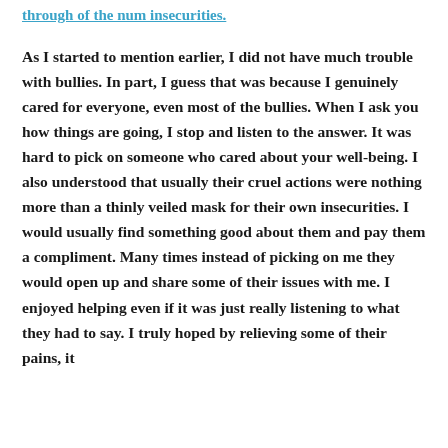through of the num insecurities.
As I started to mention earlier, I did not have much trouble with bullies. In part, I guess that was because I genuinely cared for everyone, even most of the bullies. When I ask you how things are going, I stop and listen to the answer. It was hard to pick on someone who cared about your well-being. I also understood that usually their cruel actions were nothing more than a thinly veiled mask for their own insecurities. I would usually find something good about them and pay them a compliment. Many times instead of picking on me they would open up and share some of their issues with me. I enjoyed helping even if it was just really listening to what they had to say. I truly hoped by relieving some of their pains, it